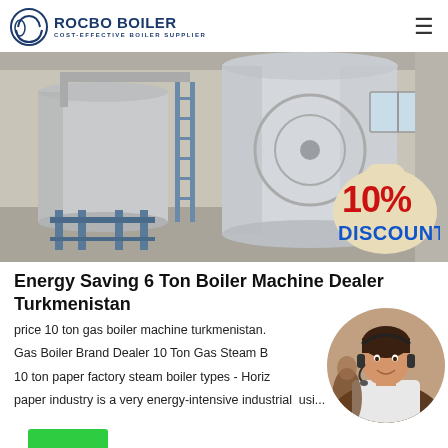[Figure (logo): Rocbo Boiler logo with circular icon and text 'ROCBO BOILER / COST-EFFECTIVE BOILER SUPPLIER']
[Figure (photo): Industrial boiler machines in a factory floor, large horizontal cylindrical tanks on blue metal frames, with a 10% DISCOUNT badge overlay in the bottom right corner]
Energy Saving 6 Ton Boiler Machine Dealer Turkmenistan
price 10 ton gas boiler machine turkmenistan. Gas Boiler Brand Dealer 10 Ton Gas Steam B 10 ton paper factory steam boiler types - Horizo paper industry is a very energy-intensive industrial ... usi...